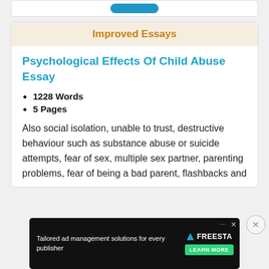Improved Essays
Psychological Effects Of Child Abuse Essay
1228 Words
5 Pages
Also social isolation, unable to trust, destructive behaviour such as substance abuse or suicide attempts, fear of sex, multiple sex partner, parenting problems, fear of being a bad parent, flashbacks and
[Figure (screenshot): Advertisement banner for Freestar ad management solutions with dark background, text 'Tailored ad management solutions for every publisher', Freestar logo and 'Learn More' button]